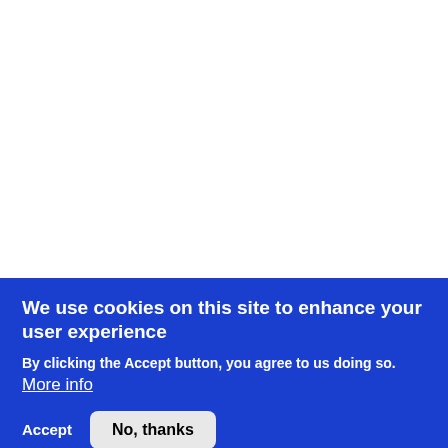We use cookies on this site to enhance your user experience
By clicking the Accept button, you agree to us doing so. More info
Accept   No, thanks